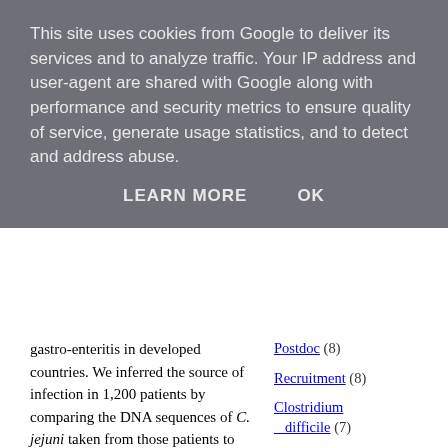This site uses cookies from Google to deliver its services and to analyze traffic. Your IP address and user-agent are shared with Google along with performance and security metrics to ensure quality of service, generate usage statistics, and to detect and address abuse.
LEARN MORE   OK
gastro-enteritis in developed countries. We inferred the source of infection in 1,200 patients by comparing the DNA sequences of C. jejuni taken from those patients to 1,100 taken from different animal species and the environment. The result: livestock are the source of infection in 97% of cases.
In addition to preparing the figures, approving final drafts, and producing a press release in conjunction with the PLoS Genetics and university press offices, I have spent much of my time over the last three weeks revising a companion paper on the evolution of C. jejuni. On Friday that
Postdoc (8)
Recruitment (8)
Clostridium difficile (7)
Evolution (7)
Mycobacterium tuberculosis (7)
Phylogenetics (7)
Virulogenomics (7)
Bernadette Young